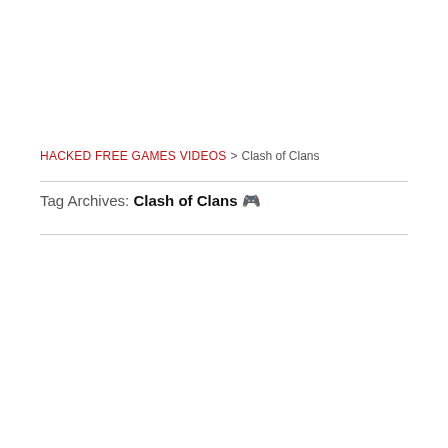HACKED FREE GAMES VIDEOS > Clash of Clans
Tag Archives: Clash of Clans 🎮